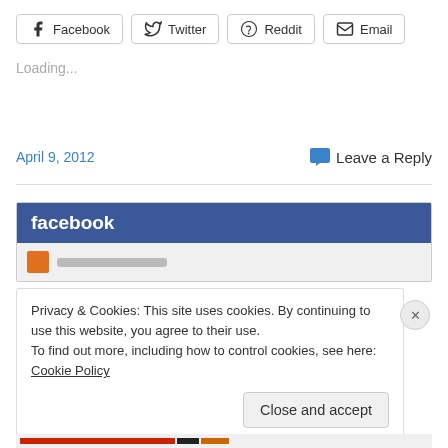[Figure (other): Social share buttons: Facebook, Twitter, Reddit, Email]
Loading...
April 9, 2012
Leave a Reply
[Figure (other): Facebook social plugin widget with blue header showing 'facebook' logo and a partially visible user activity row]
Privacy & Cookies: This site uses cookies. By continuing to use this website, you agree to their use.
To find out more, including how to control cookies, see here: Cookie Policy
Close and accept